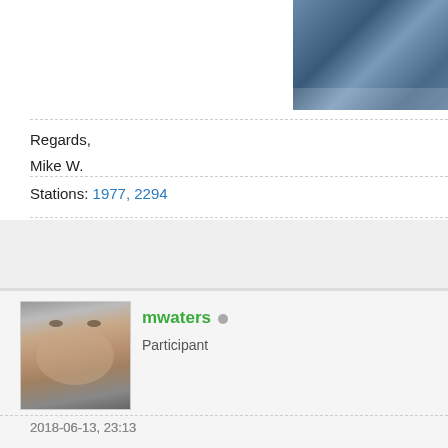[Figure (photo): Map thumbnail image in top-right corner showing a geographical map view]
Regards,
Mike W.
Stations: 1977, 2294
mwaters
Participant
2018-06-13, 23:13
Here's the link, zoomed out one step this time.
https://www.lightningmaps.org/#z=4;tc=0;...;dc=0;dn=0;
Regards,